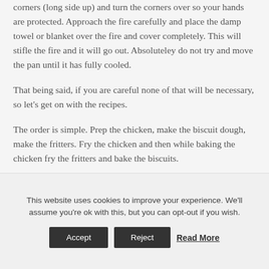corners (long side up) and turn the corners over so your hands are protected. Approach the fire carefully and place the damp towel or blanket over the fire and cover completely. This will stifle the fire and it will go out. Absoluteley do not try and move the pan until it has fully cooled.
That being said, if you are careful none of that will be necessary, so let's get on with the recipes.
The order is simple. Prep the chicken, make the biscuit dough, make the fritters. Fry the chicken and then while baking the chicken fry the fritters and bake the biscuits.
This website uses cookies to improve your experience. We'll assume you're ok with this, but you can opt-out if you wish.